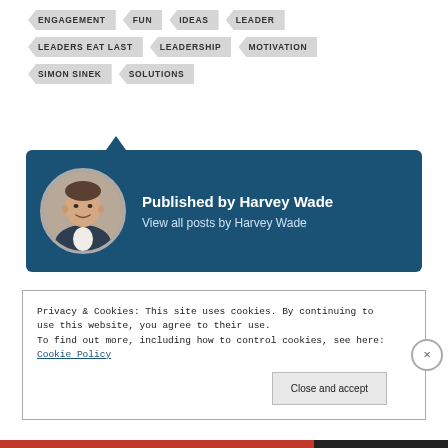ENGAGEMENT
FUN
IDEAS
LEADER
LEADERS EAT LAST
LEADERSHIP
MOTIVATION
SIMON SINEK
SOLUTIONS
Published by Harvey Wade
View all posts by Harvey Wade
Privacy & Cookies: This site uses cookies. By continuing to use this website, you agree to their use.
To find out more, including how to control cookies, see here: Cookie Policy
Close and accept